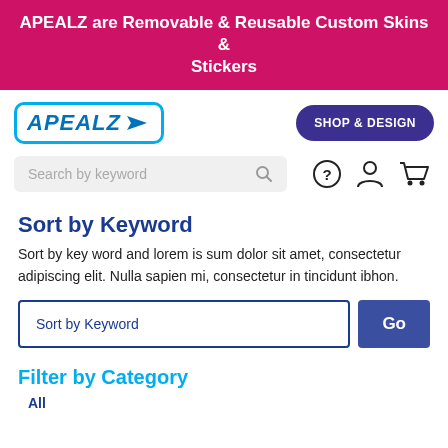APEALZ are Removable & Reusable Custom Skins & Stickers
[Figure (logo): APEALZ logo with cyan border and arrow, plus SHOP & DESIGN button and search bar with icons]
Sort by Keyword
Sort by key word and lorem is sum dolor sit amet, consectetur adipiscing elit. Nulla sapien mi, consectetur in tincidunt ibhon.
Filter by Category
All